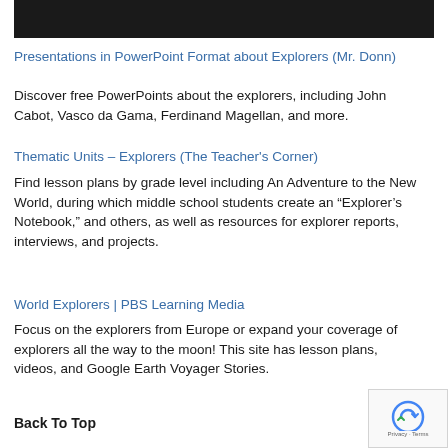[Figure (screenshot): Black bar at top of page, partial screenshot element]
Presentations in PowerPoint Format about Explorers (Mr. Donn)
Discover free PowerPoints about the explorers, including John Cabot, Vasco da Gama, Ferdinand Magellan, and more.
Thematic Units – Explorers (The Teacher's Corner)
Find lesson plans by grade level including An Adventure to the New World, during which middle school students create an “Explorer’s Notebook,” and others, as well as resources for explorer reports, interviews, and projects.
World Explorers | PBS Learning Media
Focus on the explorers from Europe or expand your coverage of explorers all the way to the moon! This site has lesson plans, videos, and Google Earth Voyager Stories.
Back To Top